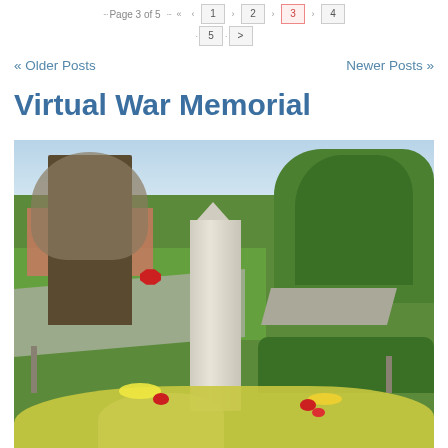Page 3 of 5  « ‹ 1 › 2 › 3 › 4 · 5 · >
« Older Posts    Newer Posts »
Virtual War Memorial
[Figure (photo): Photograph of a war memorial obelisk in a park setting, surrounded by colourful flowers including red poppies and yellow daffodils, with trees and houses visible in the background.]